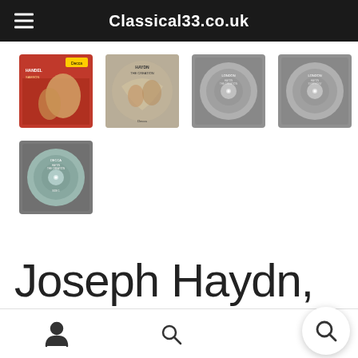Classical33.co.uk
[Figure (photo): Grid of 5 vinyl record album thumbnails: first row has 4 images (2 album covers, 2 record label photos), second row has 1 record label photo]
Joseph Haydn,
Navigation bar with person icon, search icon, and search bubble